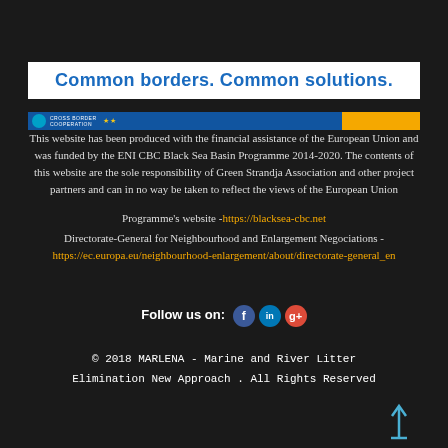Common borders. Common solutions.
[Figure (logo): Cross Border Cooperation ENI CBC banner strip with blue section containing logo and stars, and yellow/orange section on the right]
This website has been produced with the financial assistance of the European Union and was funded by the ENI CBC Black Sea Basin Programme 2014-2020. The contents of this website are the sole responsibility of Green Strandja Association and other project partners and can in no way be taken to reflect the views of the European Union
Programme's website - https://blacksea-cbc.net
Directorate-General for Neighbourhood and Enlargement Negociations - https://ec.europa.eu/neighbourhood-enlargement/about/directorate-general_en
Follow us on:
© 2018 MARLENA - Marine and River Litter Elimination New Approach . All Rights Reserved